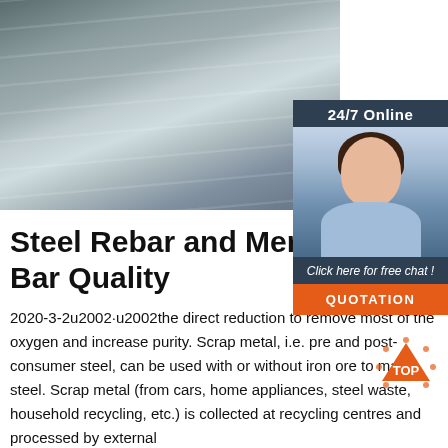[Figure (photo): Stacked steel sheets/plates in a warehouse or factory setting, viewed from above at an angle, showing metallic grey surfaces with light reflections.]
[Figure (photo): 24/7 Online customer service widget showing a smiling female agent wearing a headset, with a dark blue background, 'Click here for free chat!' text, and an orange QUOTATION button.]
Steel Rebar and Merch Bar Quality
2020-3-2u2002·u2002the direct reduction to remove most of the oxygen and increase purity. Scrap metal, i.e. pre and post-consumer steel, can be used with or without iron ore to make steel. Scrap metal (from cars, home appliances, steel waste, household recycling, etc.) is collected at recycling centres and processed by external